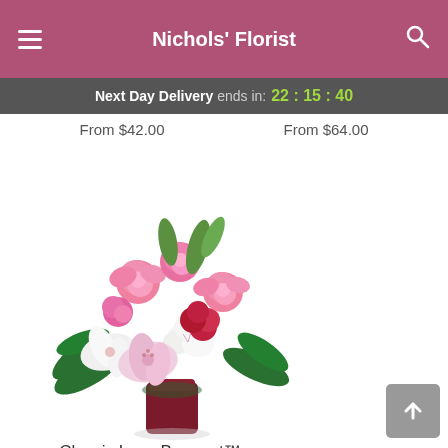Nichols' Florist
Next Day Delivery ends in: 22:15:40
From $42.00   From $64.00
[Figure (photo): Classic Love Bouquet flower arrangement in a dark red vase with pink roses, white lilies, pink alstroemeria, and red carnations]
Classic Love Bouquet™
From $73.00